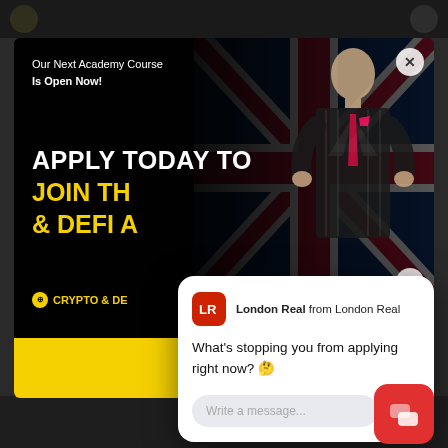[Figure (screenshot): Top navigation bar of a website, dark background with blurred icons and text]
[Figure (screenshot): Advertisement banner for London Real Academy Crypto & DeFi course with text 'Our Next Academy Course Is Open Now!', 'APPLY TODAY TO JOIN TH... & DEFI A...' on dark background with British Union Jack flag and man in pinstripe suit]
Our Next Academy Course Is Open Now!
APPLY TODAY TO
JOIN TH
& DEFI A
CRYPTO & DE
NOW
[Figure (screenshot): Chat popup from London Real from London Real with message 'What's stopping you from applying right now? 🤔' and a message input field saying 'Write a message...' with a red send button]
London Real from London Real
What's stopping you from applying right now? 🤔
Write a message...
[Figure (screenshot): Red chat widget button in bottom right corner]